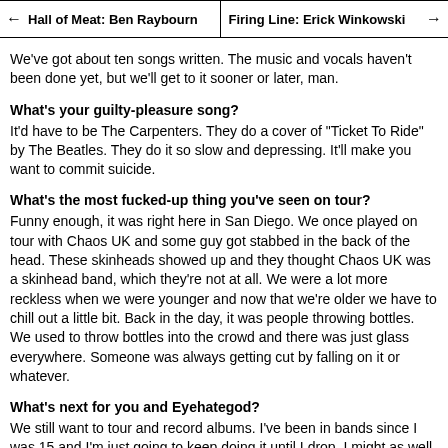← Hall of Meat: Ben Raybourn   |   Firing Line: Erick Winkowski →
We've got about ten songs written. The music and vocals haven't been done yet, but we'll get to it sooner or later, man.
What's your guilty-pleasure song?
It'd have to be The Carpenters. They do a cover of "Ticket To Ride" by The Beatles. They do it so slow and depressing. It'll make you want to commit suicide.
What's the most fucked-up thing you've seen on tour?
Funny enough, it was right here in San Diego. We once played on tour with Chaos UK and some guy got stabbed in the back of the head. These skinheads showed up and they thought Chaos UK was a skinhead band, which they're not at all. We were a lot more reckless when we were younger and now that we're older we have to chill out a little bit. Back in the day, it was people throwing bottles. We used to throw bottles into the crowd and there was just glass everywhere. Someone was always getting cut by falling on it or whatever.
What's next for you and Eyehategod?
We still want to tour and record albums. I've been in bands since I was 15 and I'm just going to keep doing it until I drop. I might as well.